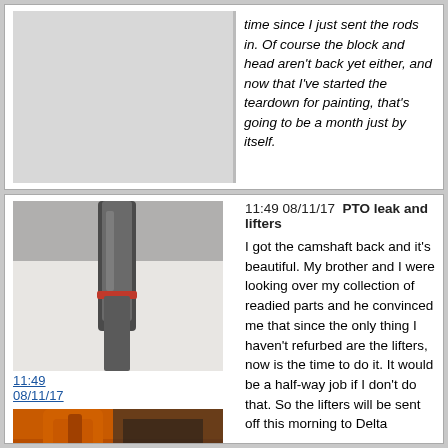time since I just sent the rods in. Of course the block and head aren't back yet either, and now that I've started the teardown for painting, that's going to be a month just by itself.
[Figure (photo): Camshaft component, close-up photo showing metallic shaft]
11:49 08/11/17
11:49 08/11/17  PTO leak and lifters
I got the camshaft back and it's beautiful. My brother and I were looking over my collection of readied parts and he convinced me that since the only thing I haven't refurbed are the lifters, now is the time to do it. It would be a half-way job if I don't do that. So the lifters will be sent off this morning to Delta Camshaft in Tacoma for a reconditioning. I keep trying to be cheap, even now.
[Figure (photo): Orange tractor PTO lever and clutch shaft area, orange painted metal parts]
11:49 08/11/17
The PTO o-ring is leaking and since I'm now painting the entire machine (interesting how these projects grow, but I have the time, it will be a long time before the rods and lifters reappear, and I still don't have the block or head). The first shot is the PTO lever which is right above the clutch shaft. It bathes the clutch shaft in oil, not a drip, but puts a sheen on it and then dust turns it to sludge. It requires a split at the transmission which now, since the engine is still out, it's an ideal time to do that, but just the removal of the Traction Booster and various other components, makes it a big job, plus I have only one hoist. I'm going to pull the
[Figure (photo): Orange tractor component, bottom partial view]